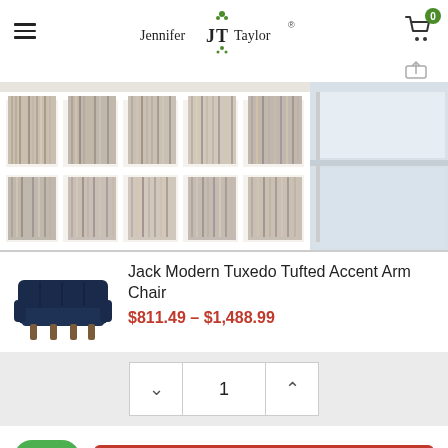Jennifer JT Taylor
[Figure (photo): A white bookshelf filled with vinyl records, seen from the front, with a window in the background.]
[Figure (photo): Small thumbnail of a dark navy blue tufted accent arm chair.]
Jack Modern Tuxedo Tufted Accent Arm Chair
$811.49 – $1,488.99
Quantity selector showing: decrease button, 1, increase button
CHOOSE OPTIONS